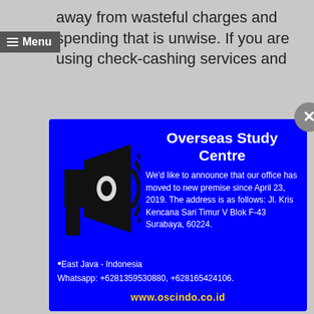away from wasteful charges and spending that is unwise. If you are using check-cashing services and
[Figure (screenshot): Blue modal popup for Overseas Study Centre announcing office move. Contains megaphone illustration, title 'Overseas Study Centre', announcement text, address, WhatsApp numbers, and website URL. Has a close (X) button at top right.]
life style you cannot manage. Keep one card empty for emergencies.